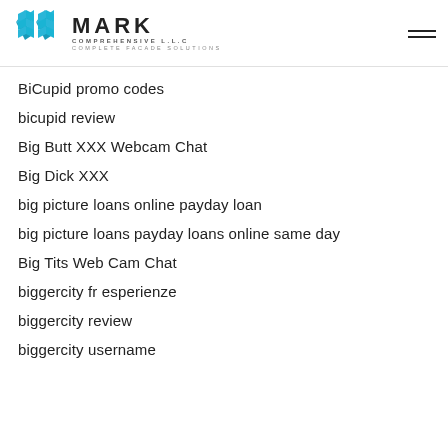MARK COMPREHENSIVE L.L.C COMPLETE FACADE SOLUTIONS
BiCupid promo codes
bicupid review
Big Butt XXX Webcam Chat
Big Dick XXX
big picture loans online payday loan
big picture loans payday loans online same day
Big Tits Web Cam Chat
biggercity fr esperienze
biggercity review
biggercity username